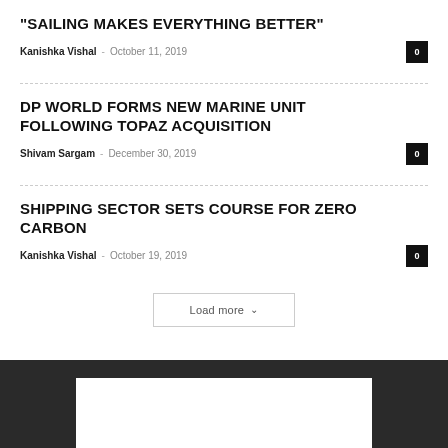“SAILING MAKES EVERYTHING BETTER”
Kanishka Vishal – October 11, 2019   0
DP WORLD FORMS NEW MARINE UNIT FOLLOWING TOPAZ ACQUISITION
Shivam Sargam – December 30, 2019   0
SHIPPING SECTOR SETS COURSE FOR ZERO CARBON
Kanishka Vishal – October 19, 2019   0
Load more
[Figure (other): Dark footer bar with white rectangular panel]